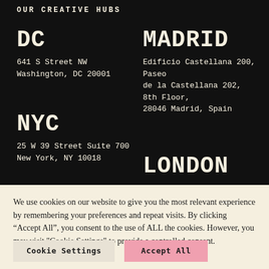OUR CREATIVE HUBS
DC
641 S Street NW
Washington, DC 20001
MADRID
Edificio Castellana 200, Paseo de la Castellana 202, 8th Floor, 28046 Madrid, Spain
NYC
25 W 39 Street Suite 700
New York, NY 10018
LONDON
We use cookies on our website to give you the most relevant experience by remembering your preferences and repeat visits. By clicking “Accept All”, you consent to the use of ALL the cookies. However, you may visit "Cookie Settings" to provide a controlled consent.
Cookie Settings
Accept All